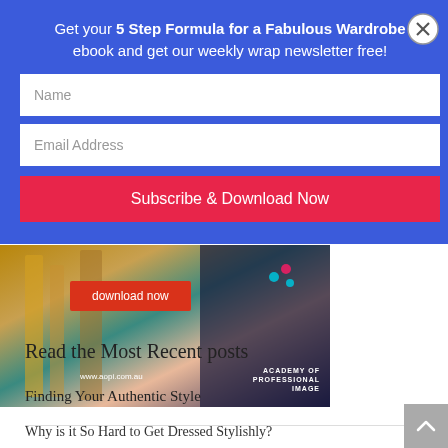Get your 5 Step Formula for a Fabulous Wardrobe ebook and get our weekly wrap newsletter free!
[Figure (screenshot): Email signup form with Name field, Email Address field, and Subscribe & Download Now button on blue background with close X button]
[Figure (photo): Advertisement banner for Academy of Professional Image (www.aopi.com.au) showing a woman and drinks, with a red 'download now' button and logo with stars]
Read the Most Recent posts
Finding Your Authentic Style
Why is it So Hard to Get Dressed Stylishly?